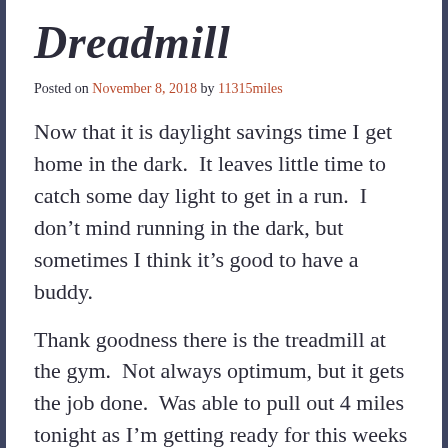Dreadmill
Posted on November 8, 2018 by 11315miles
Now that it is daylight savings time I get home in the dark.  It leaves little time to catch some day light to get in a run.  I don't mind running in the dark, but sometimes I think it's good to have a buddy.
Thank goodness there is the treadmill at the gym.  Not always optimum, but it gets the job done.  Was able to pull out 4 miles tonight as I'm getting ready for this weeks race.
Happy Miles – Heidi…